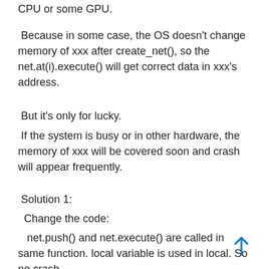CPU or some GPU.
Because in some case, the OS doesn't change memory of xxx after create_net(), so the net.at(i).execute() will get correct data in xxx's address.
But it's only for lucky.
If the system is busy or in other hardware, the memory of xxx will be covered soon and crash will appear frequently.
Solution 1:
Change the code:
net.push() and net.execute() are called in same function. local variable is used in local. So no crash.
Solution 2: